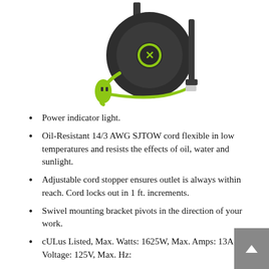[Figure (photo): Extension cord reel product photo: black circular reel with green X logo, lime green extension cord and outlet head hanging from the reel, mounted on a bracket.]
Power indicator light.
Oil-Resistant 14/3 AWG SJTOW cord flexible in low temperatures and resists the effects of oil, water and sunlight.
Adjustable cord stopper ensures outlet is always within reach. Cord locks out in 1 ft. increments.
Swivel mounting bracket pivots in the direction of your work.
cULus Listed, Max. Watts: 1625W, Max. Amps: 13A, Max. Voltage: 125V, Max. Hz: